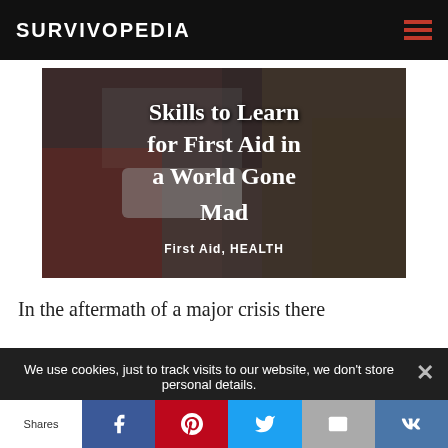SURVIVOPEDIA
[Figure (photo): Person receiving first aid on ground, hero image with white overlaid title text: 'Skills to Learn for First Aid in a World Gone Mad' and subtitle 'First Aid, HEALTH']
Skills to Learn for First Aid in a World Gone Mad
First Aid, HEALTH
In the aftermath of a major crisis there
We use cookies, just to track visits to our website, we don't store personal details.
Ok   Find out more
Shares